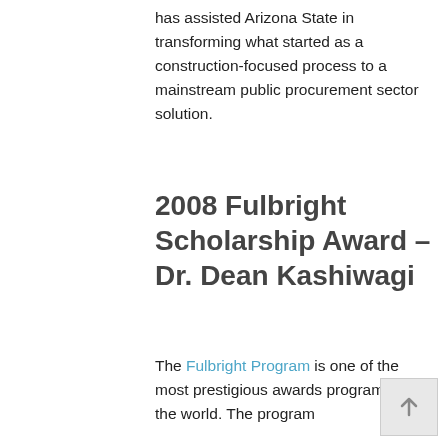has assisted Arizona State in transforming what started as a construction-focused process to a mainstream public procurement sector solution.
2008 Fulbright Scholarship Award – Dr. Dean Kashiwagi
The Fulbright Program is one of the most prestigious awards programs in the world. The program